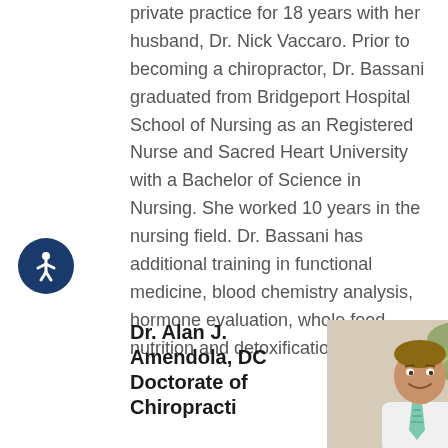private practice for 18 years with her husband, Dr. Nick Vaccaro. Prior to becoming a chiropractor, Dr. Bassani graduated from Bridgeport Hospital School of Nursing as an Registered Nurse and Sacred Heart University with a Bachelor of Science in Nursing. She worked 10 years in the nursing field. Dr. Bassani has additional training in functional medicine, blood chemistry analysis, hormone evaluation, whole food nutrition and detoxification.
Dr. Alan J. Amendola, DC Doctorate of Chiropractic
[Figure (photo): Portrait photo of Dr. Alan J. Amendola, a man in a white shirt and green striped tie, smiling, with a plant/ivy in the background]